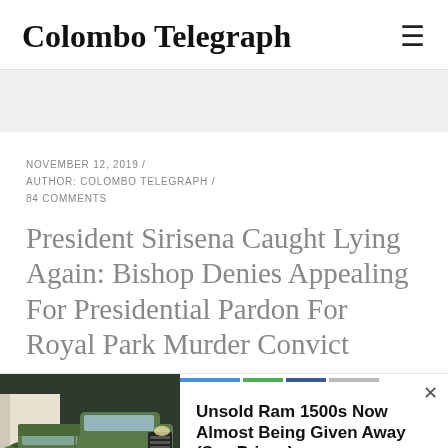Colombo Telegraph
NOVEMBER 12, 2019 / AUTHOR: COLOMBO TELEGRAPH / 84 COMMENTS
President Sirisena Caught Lying Again: Bishop Denies Appealing For Presidential Pardon For Royal Park Murder Convict
[Figure (photo): Advertisement showing a green Ram 1500 truck parked outside with text 'Unsold Ram 1500s Now Almost Being Given Away (See Prices)' and source 'Trucks | Search Ads | Sponsored']